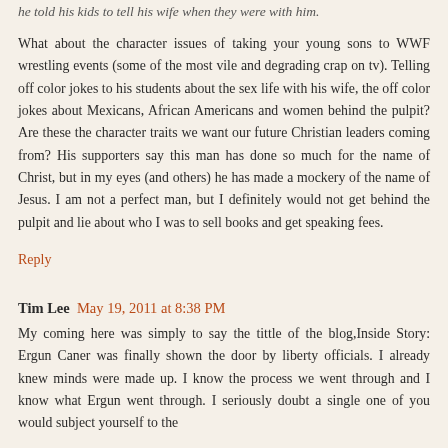he told his kids to tell his wife when they were with him.
What about the character issues of taking your young sons to WWF wrestling events (some of the most vile and degrading crap on tv). Telling off color jokes to his students about the sex life with his wife, the off color jokes about Mexicans, African Americans and women behind the pulpit? Are these the character traits we want our future Christian leaders coming from? His supporters say this man has done so much for the name of Christ, but in my eyes (and others) he has made a mockery of the name of Jesus. I am not a perfect man, but I definitely would not get behind the pulpit and lie about who I was to sell books and get speaking fees.
Reply
Tim Lee  May 19, 2011 at 8:38 PM
My coming here was simply to say the tittle of the blog,Inside Story: Ergun Caner was finally shown the door by liberty officials. I already knew minds were made up. I know the process we went through and I know what Ergun went through. I seriously doubt a single one of you would subject yourself to the